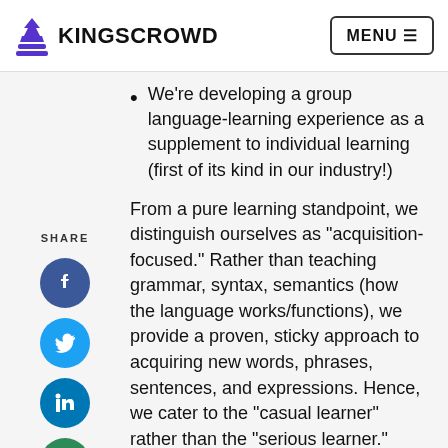KINGSCROWD | MENU
We're developing a group language-learning experience as a supplement to individual learning (first of its kind in our industry!)
SHARE
From a pure learning standpoint, we distinguish ourselves as “acquisition-focused.” Rather than teaching grammar, syntax, semantics (how the language works/functions), we provide a proven, sticky approach to acquiring new words, phrases, sentences, and expressions. Hence, we cater to the “casual learner” rather than the “serious learner.” Furthermore, a core value is our unmatched focus on speaking (vs. reading and writing). Since speaking is the hardest part of